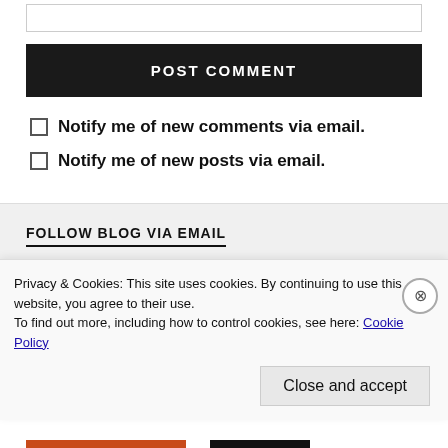[Figure (screenshot): Input text box at the top of the page]
POST COMMENT
Notify me of new comments via email.
Notify me of new posts via email.
FOLLOW BLOG VIA EMAIL
Enter your email address to follow this blog and receive
Privacy & Cookies: This site uses cookies. By continuing to use this website, you agree to their use.
To find out more, including how to control cookies, see here: Cookie Policy
Close and accept